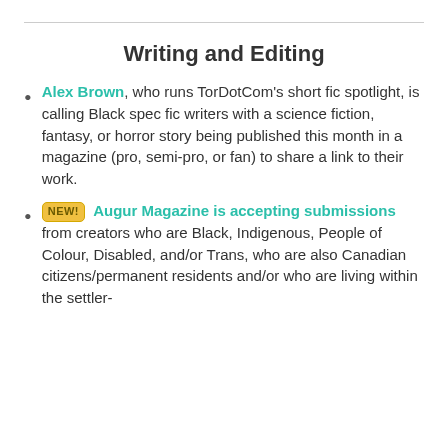Writing and Editing
Alex Brown, who runs TorDotCom's short fic spotlight, is calling Black spec fic writers with a science fiction, fantasy, or horror story being published this month in a magazine (pro, semi-pro, or fan) to share a link to their work.
NEW! Augur Magazine is accepting submissions from creators who are Black, Indigenous, People of Colour, Disabled, and/or Trans, who are also Canadian citizens/permanent residents and/or who are living within the settler-